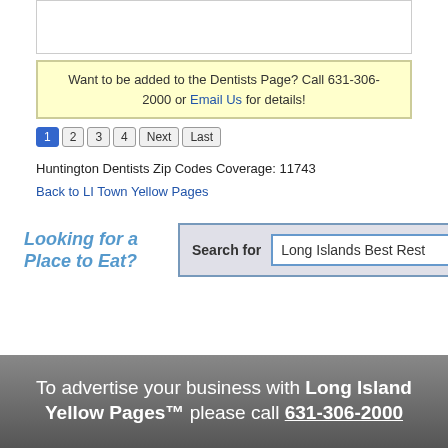Want to be added to the Dentists Page? Call 631-306-2000 or Email Us for details!
1 2 3 4 Next Last
Huntington Dentists Zip Codes Coverage: 11743
Back to LI Town Yellow Pages
[Figure (screenshot): Search widget with 'Looking for a Place to Eat?' text and search input containing 'Long Islands Best Rest']
To advertise your business with Long Island Yellow Pages™ please call 631-306-2000